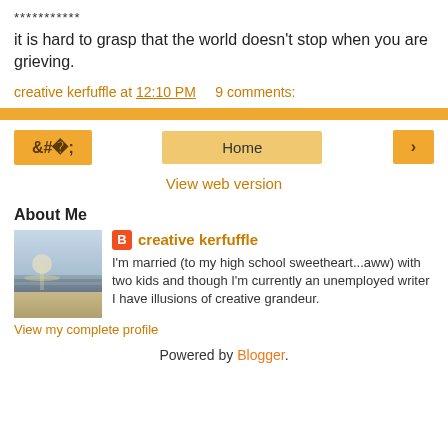***********
it is hard to grasp that the world doesn't stop when you are grieving.
creative kerfuffle at 12:10 PM   9 comments:
‹   Home   ›
View web version
About Me
[Figure (photo): Beach scene with sunlight reflecting on water]
creative kerfuffle
I'm married (to my high school sweetheart...aww) with two kids and though I'm currently an unemployed writer I have illusions of creative grandeur.
View my complete profile
Powered by Blogger.